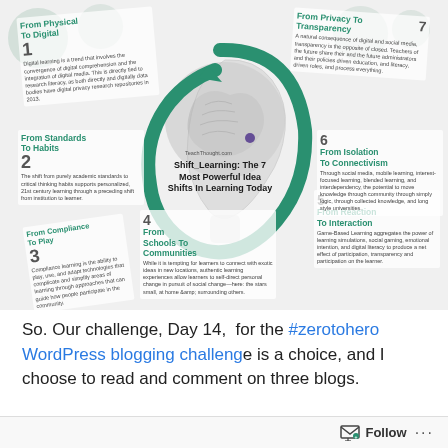[Figure (infographic): Infographic titled 'Shift_Learning: The 7 Most Powerful Idea Shifts In Learning Today' from TeachThought.com. Shows a stylized human head profile with a green spiral arrow and 7 numbered concept cards: 1-From Physical To Digital, 2-From Standards To Habits, 3-From Compliance To Play, 4-From Schools To Communities, 5-From Reaction To Interaction, 6-From Isolation To Connectivism, 7-From Privacy To Transparency.]
So. Our challenge, Day 14,  for the #zerotohero WordPress blogging challenge is a choice, and I choose to read and comment on three blogs.
Follow ...